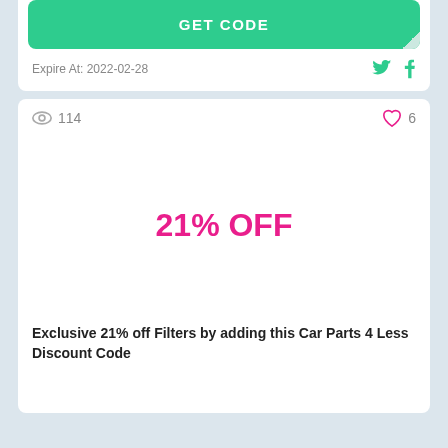GET CODE
Expire At: 2022-02-28
114
6
21% OFF
Exclusive 21% off Filters by adding this Car Parts 4 Less Discount Code